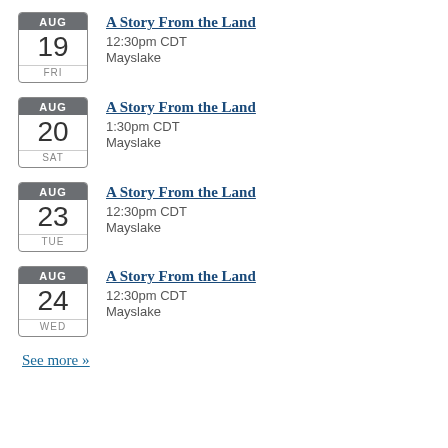AUG 19 FRI – A Story From the Land – 12:30pm CDT – Mayslake
AUG 20 SAT – A Story From the Land – 1:30pm CDT – Mayslake
AUG 23 TUE – A Story From the Land – 12:30pm CDT – Mayslake
AUG 24 WED – A Story From the Land – 12:30pm CDT – Mayslake
See more »